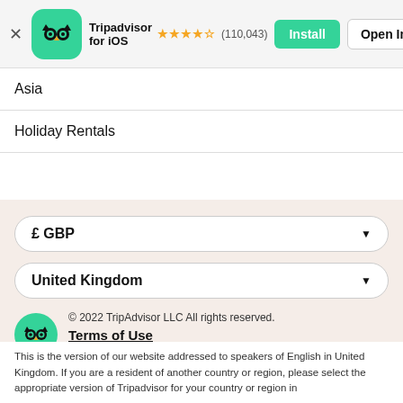[Figure (screenshot): TripAdvisor app banner with owl logo icon, app name 'Tripadvisor for iOS', 4.5 star rating (110,043 reviews), Install button (green), Open In App button (outline)]
Asia
Holiday Rentals
£ GBP (dropdown)
United Kingdom (dropdown)
[Figure (logo): TripAdvisor owl logo in green circle]
© 2022 TripAdvisor LLC All rights reserved.
Terms of Use
Privacy and Cookies Statement
Cookie consent   Site Map
How the site works   Contact us
This is the version of our website addressed to speakers of English in United Kingdom. If you are a resident of another country or region, please select the appropriate version of Tripadvisor for your country or region in